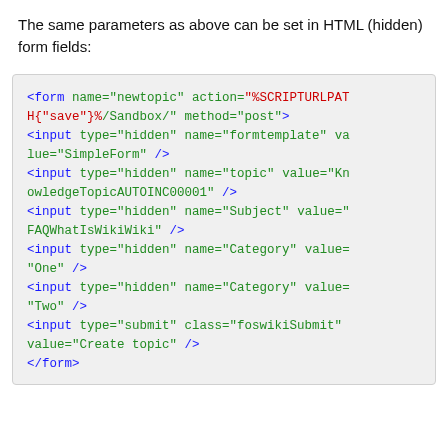The same parameters as above can be set in HTML (hidden) form fields:
<form name="newtopic" action="%SCRIPTURLPATH{"save"}%/Sandbox/" method="post">
<input type="hidden" name="formtemplate" value="SimpleForm" />
<input type="hidden" name="topic" value="KnowledgeTopicAUTOINC00001" />
<input type="hidden" name="Subject" value="FAQWhatIsWikiWiki" />
<input type="hidden" name="Category" value="One" />
<input type="hidden" name="Category" value="Two" />
<input type="submit" class="foswikiSubmit" value="Create topic" />
</form>